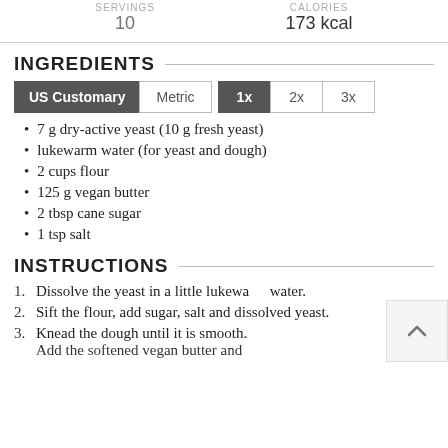| SERVINGS | CALORIES |
| --- | --- |
| 10 | 173 kcal |
INGREDIENTS
US Customary | Metric | 1x | 2x | 3x
7 g dry-active yeast (10 g fresh yeast)
lukewarm water (for yeast and dough)
2 cups flour
125 g vegan butter
2 tbsp cane sugar
1 tsp salt
INSTRUCTIONS
Dissolve the yeast in a little lukewarm water.
Sift the flour, add sugar, salt and dissolved yeast.
Knead the dough until it is smooth. Add the softened vegan butter and